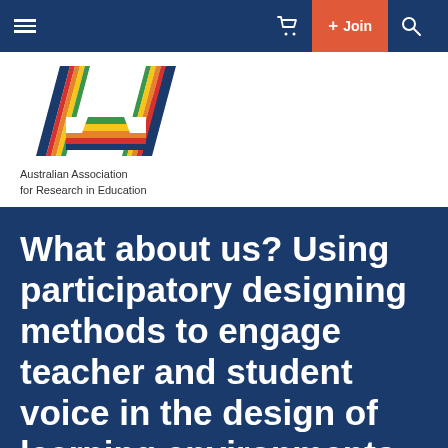≡   🛒  + Join  🔍
[Figure (logo): Australian Association for Research in Education logo - stylized letter A made of colored diagonal stripes (navy, red, orange, yellow, green) with text 'Australian Association for Research in Education' below]
What about us? Using participatory designing methods to engage teacher and student voice in the design of learning environments